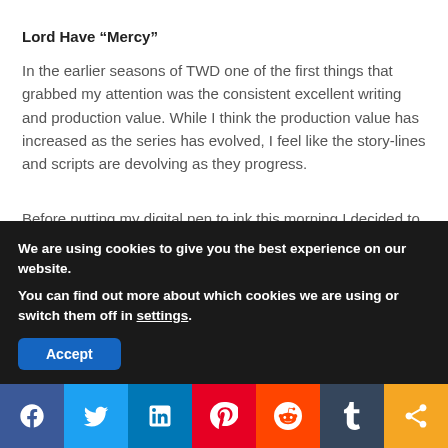Lord Have “Mercy”
In the earlier seasons of TWD one of the first things that grabbed my attention was the consistent excellent writing and production value. While I think the production value has increased as the series has evolved, I feel like the story-lines and scripts are devolving as they progress.
Before putting my digital pen to ink this morning I decided to check out a few reviews from other sources to see if I was alone on my feelings about the premier. It seems that most of my feelings are pretty common. I think I should note that I didn’t think
We are using cookies to give you the best experience on our website.
You can find out more about which cookies we are using or switch them off in settings.